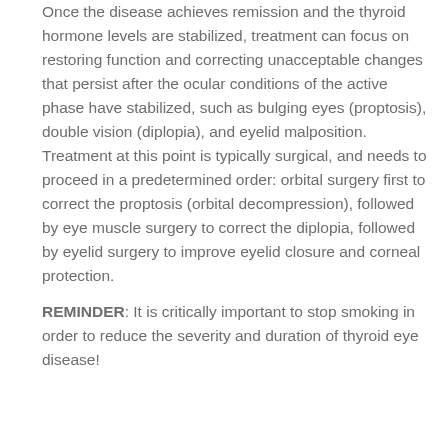Once the disease achieves remission and the thyroid hormone levels are stabilized, treatment can focus on restoring function and correcting unacceptable changes that persist after the ocular conditions of the active phase have stabilized, such as bulging eyes (proptosis), double vision (diplopia), and eyelid malposition. Treatment at this point is typically surgical, and needs to proceed in a predetermined order: orbital surgery first to correct the proptosis (orbital decompression), followed by eye muscle surgery to correct the diplopia, followed by eyelid surgery to improve eyelid closure and corneal protection.
REMINDER: It is critically important to stop smoking in order to reduce the severity and duration of thyroid eye disease!